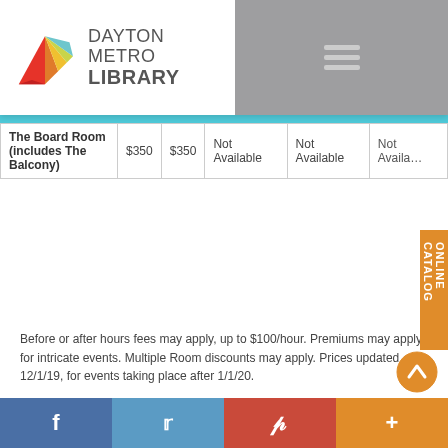[Figure (logo): Dayton Metro Library logo with colorful fan/leaf graphic and text DAYTON METRO LIBRARY]
| Room | Col2 | Col3 | Col4 | Col5 | Col6 |
| --- | --- | --- | --- | --- | --- |
| The Board Room (includes The Balcony) | $350 | $350 | Not Available | Not Available | Not Available |
Before or after hours fees may apply, up to $100/hour. Premiums may apply for intricate events.  Multiple Room discounts may apply.  Prices updated 12/1/19, for events taking place after 1/1/20.
All monies are refunded if the event is cancelled by the applicant more than thirty (30) days prior to the date of the event. Repeated cancellations may result in future requests being denied.
When a fee is required for use of the Main Library meeting spaces